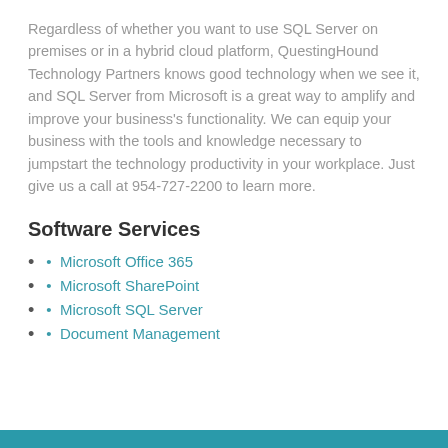Regardless of whether you want to use SQL Server on premises or in a hybrid cloud platform, QuestingHound Technology Partners knows good technology when we see it, and SQL Server from Microsoft is a great way to amplify and improve your business's functionality. We can equip your business with the tools and knowledge necessary to jumpstart the technology productivity in your workplace. Just give us a call at 954-727-2200 to learn more.
Software Services
Microsoft Office 365
Microsoft SharePoint
Microsoft SQL Server
Document Management